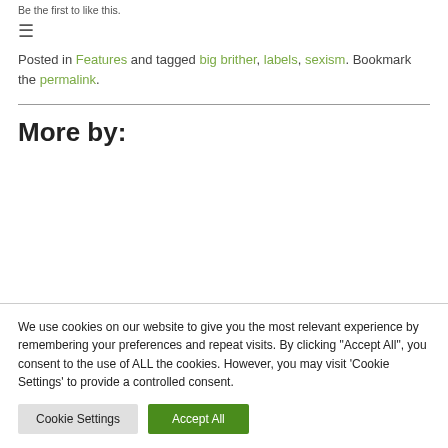Be the first to like this.
≡
Posted in Features and tagged big brither, labels, sexism. Bookmark the permalink.
More by:
We use cookies on our website to give you the most relevant experience by remembering your preferences and repeat visits. By clicking "Accept All", you consent to the use of ALL the cookies. However, you may visit 'Cookie Settings' to provide a controlled consent.
Cookie Settings | Accept All